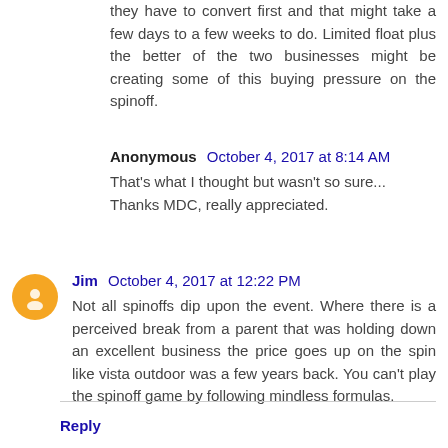they have to convert first and that might take a few days to a few weeks to do. Limited float plus the better of the two businesses might be creating some of this buying pressure on the spinoff.
Anonymous October 4, 2017 at 8:14 AM
That's what I thought but wasn't so sure... Thanks MDC, really appreciated.
Jim October 4, 2017 at 12:22 PM
Not all spinoffs dip upon the event. Where there is a perceived break from a parent that was holding down an excellent business the price goes up on the spin like vista outdoor was a few years back. You can't play the spinoff game by following mindless formulas.
Reply